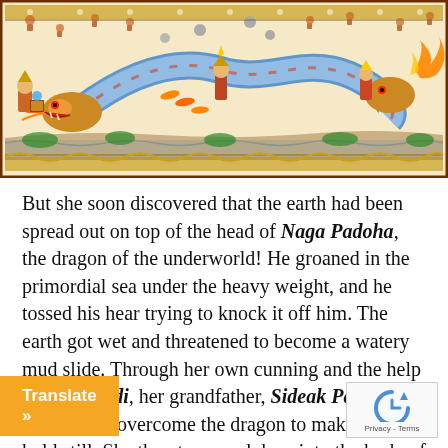[Figure (illustration): Traditional Batak/Indonesian decorative painting showing a large serpentine dragon (Naga Padoha) with multiple figures, warriors, and mythological characters on a cream/ivory background with ornate borders. The scene depicts figures interacting with the dragon/serpent.]
But she soon discovered that the earth had been spread out on top of the head of Naga Padoha, the dragon of the underworld! He groaned in the primordial sea under the heavy weight, and he tossed his hear trying to knock it off him. The earth got wet and threatened to become a watery mud slide. Through her own cunning and the help of Mula Jadi, her grandfather, Sideak Parudjar was able to overcome the dragon to make him hold still. She thrust a sword deep into the body of the snake monster Naga Padoha all t... u... id him in an iron block so he stay... N... ga Padoha twists in the block, an